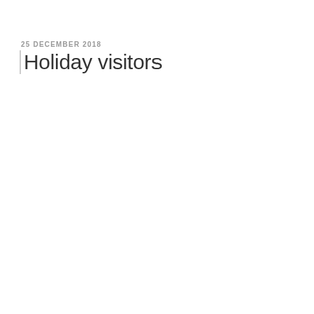25 DECEMBER 2018
Holiday visitors